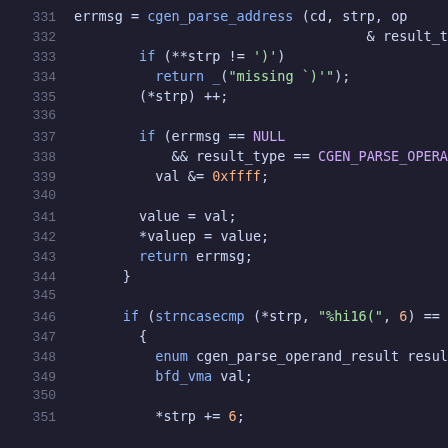Code listing lines 331-351, C source code with syntax highlighting
331    errmsg = cgen_parse_address (cd, strp, op
332                                    & result_typ
333        if (**strp != ')')
334          return _("missing `)'" );
335        (*strp) ++;
336
337        if (errmsg == NULL
338            && result_type == CGEN_PARSE_OPERAND_
339          val &= 0xffff;
340
341        value = val;
342        *valuep = value;
343        return errmsg;
344      }
345
346      if (strncasecmp (*strp, "%hi16(", 6) == 0)
347        {
348          enum cgen_parse_operand_result result_typ
349          bfd_vma val;
350
351          *strp += 6;